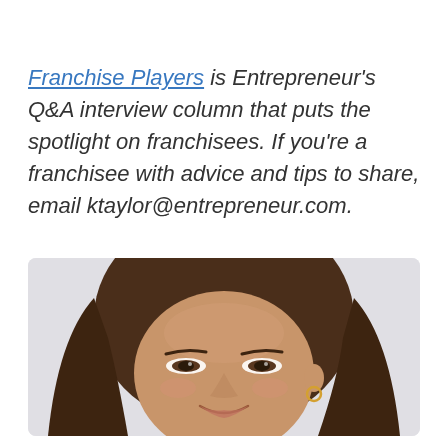Franchise Players is Entrepreneur's Q&A interview column that puts the spotlight on franchisees. If you're a franchisee with advice and tips to share, email ktaylor@entrepreneur.com.
[Figure (photo): Close-up photo of a smiling young woman with long brown hair, wearing a small gold hoop earring, against a light background.]